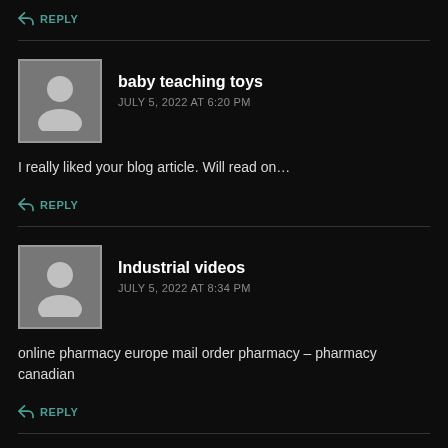REPLY
baby teaching toys
JULY 5, 2022 AT 6:20 PM
I really liked your blog article. Will read on...
REPLY
Industrial videos
JULY 5, 2022 AT 8:34 PM
online pharmacy europe mail order pharmacy – pharmacy canadian
REPLY